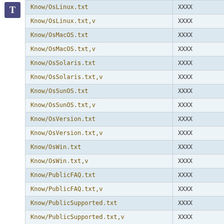| File | Value |
| --- | --- |
| Know/OsLinux.txt | XXXX |
| Know/OsLinux.txt,v | XXXX |
| Know/OsMacOS.txt | XXXX |
| Know/OsMacOS.txt,v | XXXX |
| Know/OsSolaris.txt | XXXX |
| Know/OsSolaris.txt,v | XXXX |
| Know/OsSunOS.txt | XXXX |
| Know/OsSunOS.txt,v | XXXX |
| Know/OsVersion.txt | XXXX |
| Know/OsVersion.txt,v | XXXX |
| Know/OsWin.txt | XXXX |
| Know/OsWin.txt,v | XXXX |
| Know/PublicFAQ.txt | XXXX |
| Know/PublicFAQ.txt,v | XXXX |
| Know/PublicSupported.txt | XXXX |
| Know/PublicSupported.txt,v | XXXX |